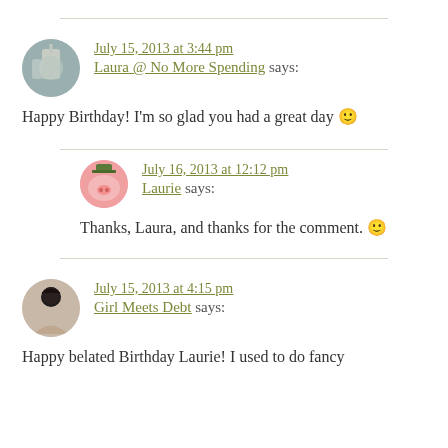July 15, 2013 at 3:44 pm
Laura @ No More Spending says:
Happy Birthday! I'm so glad you had a great day 🙂
July 16, 2013 at 12:12 pm
Laurie says:
Thanks, Laura, and thanks for the comment. 🙂
July 15, 2013 at 4:15 pm
Girl Meets Debt says:
Happy belated Birthday Laurie! I used to do fancy